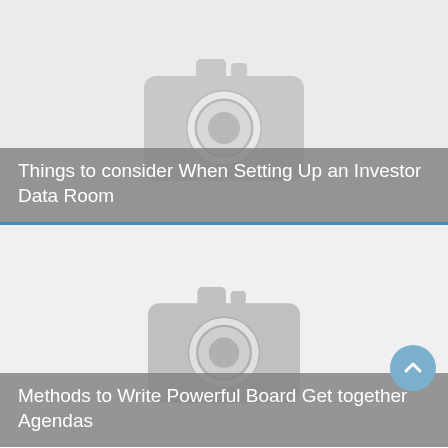[Figure (photo): Placeholder image with camera icon for article: Things to consider When Setting Up an Investor Data Room]
Things to consider When Setting Up an Investor Data Room
[Figure (photo): Placeholder image with camera icon for article: Methods to Write Powerful Board Get together Agendas]
Methods to Write Powerful Board Get together Agendas